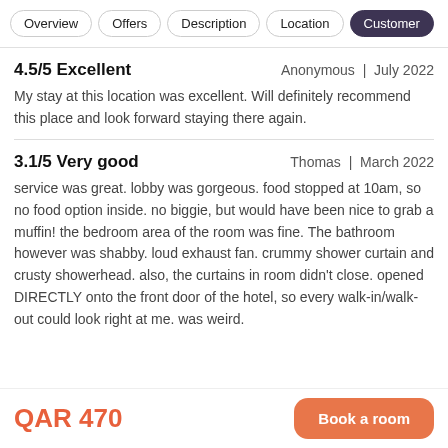Overview | Offers | Description | Location | Customer
4.5/5 Excellent
Anonymous | July 2022
My stay at this location was excellent. Will definitely recommend this place and look forward staying there again.
3.1/5 Very good
Thomas | March 2022
service was great. lobby was gorgeous. food stopped at 10am, so no food option inside. no biggie, but would have been nice to grab a muffin! the bedroom area of the room was fine. The bathroom however was shabby. loud exhaust fan. crummy shower curtain and crusty showerhead. also, the curtains in room didn't close. opened DIRECTLY onto the front door of the hotel, so every walk-in/walk-out could look right at me. was weird.
QAR 470 | Book a room